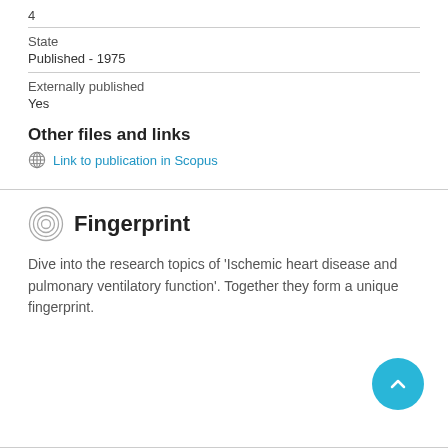4
State
Published - 1975
Externally published
Yes
Other files and links
Link to publication in Scopus
Fingerprint
Dive into the research topics of 'Ischemic heart disease and pulmonary ventilatory function'. Together they form a unique fingerprint.